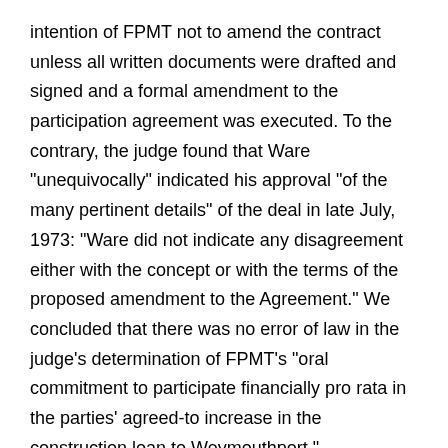intention of FPMT not to amend the contract unless all written documents were drafted and signed and a formal amendment to the participation agreement was executed. To the contrary, the judge found that Ware "unequivocally" indicated his approval "of the many pertinent details" of the deal in late July, 1973: "Ware did not indicate any disagreement either with the concept or with the terms of the proposed amendment to the Agreement." We concluded that there was no error of law in the judge's determination of FPMT's "oral commitment to participate financially pro rata in the parties' agreed-to increase in the construction loan to Weymouthport."
Page 626
3. The computation of damages. In their counterclaim